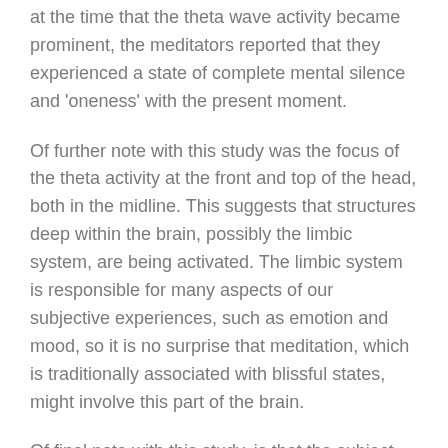at the time that the theta wave activity became prominent, the meditators reported that they experienced a state of complete mental silence and 'oneness' with the present moment.
Of further note with this study was the focus of the theta activity at the front and top of the head, both in the midline. This suggests that structures deep within the brain, possibly the limbic system, are being activated. The limbic system is responsible for many aspects of our subjective experiences, such as emotion and mood, so it is no surprise that meditation, which is traditionally associated with blissful states, might involve this part of the brain.
Of final note with this study, is that the subject group investigated was only very small, so the reported results need further investigation before they can be considered to be extremely